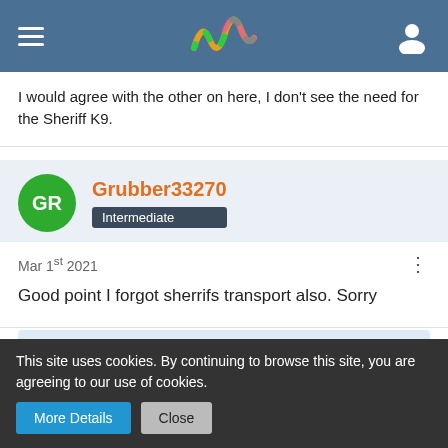[Figure (screenshot): App header bar with hamburger menu, colorful wave logo, and user icon on blue-gray background]
I would agree with the other on here, I don't see the need for the Sheriff K9.
Grubber33270
Intermediate
Mar 1st 2021
Good point I forgot sherrifs transport also. Sorry
Participate now!
This site uses cookies. By continuing to browse this site, you are agreeing to our use of cookies.